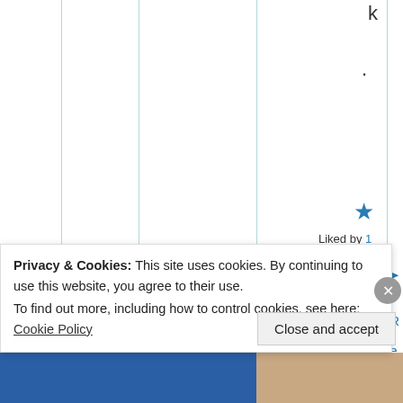[Figure (screenshot): Web page with vertical column lines (table grid), showing partial content. On the right side: letter 'k', a dot, a blue star icon, 'Liked by 1 person', a blue arrow/reblog icon, and vertical 'Reply' text in blue.]
k
.
★
Liked by 1 person
➤
Reply
Privacy & Cookies: This site uses cookies. By continuing to use this website, you agree to their use.
To find out more, including how to control cookies, see here: Cookie Policy
Close and accept